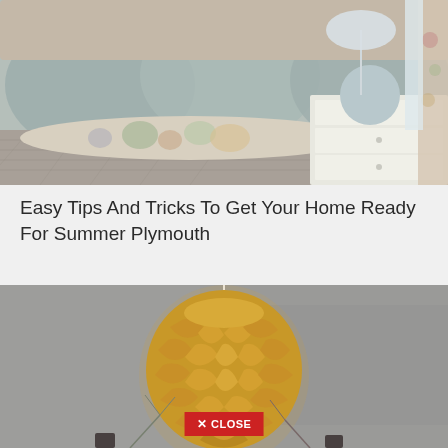[Figure (photo): Bedroom interior with light grey/blue pillows on a bed, a floral bolster pillow, a white dresser with decorative carved drawers, a round grey ceramic table lamp, and floral curtains on the right side.]
Easy Tips And Tricks To Get Your Home Ready For Summer Plymouth
[Figure (photo): A yellow/ochre artichoke-style pendant lamp hanging from a white cord against a grey textured wall, with branches and dark decorative objects visible at the bottom. A red 'X CLOSE' button overlaid near the bottom center.]